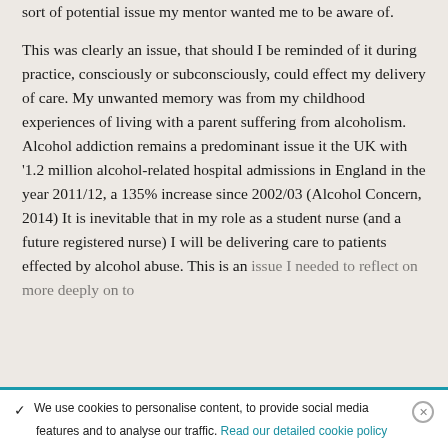sort of potential issue my mentor wanted me to be aware of.
This was clearly an issue, that should I be reminded of it during practice, consciously or subconsciously, could effect my delivery of care. My unwanted memory was from my childhood experiences of living with a parent suffering from alcoholism. Alcohol addiction remains a predominant issue it the UK with '1.2 million alcohol-related hospital admissions in England in the year 2011/12, a 135% increase since 2002/03 (Alcohol Concern, 2014) It is inevitable that in my role as a student nurse (and a future registered nurse) I will be delivering care to patients effected by alcohol abuse. This is an issue I needed to reflect on more deeply on to
We use cookies to personalise content, to provide social media features and to analyse our traffic. Read our detailed cookie policy